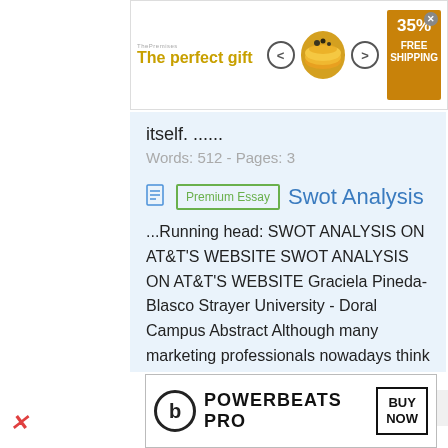[Figure (screenshot): Advertisement banner for 'The perfect gift' with navigation arrows, bowl image, and 35% FREE SHIPPING badge]
itself. ......
Words: 512 - Pages: 3
Swot Analysis
...Running head: SWOT ANALYSIS ON AT&T'S WEBSITE SWOT ANALYSIS ON AT&T'S WEBSITE Graciela Pineda-Blasco Strayer University - Doral Campus Abstract Although many marketing professionals nowadays think that SWOT analysis is outdated and too broad to be effective for a proper online marketing / website analysis this tool still provides the most basic key items required for a good business and marketing plan. The SWOT analysis includes the elements required in the strategic
[Figure (screenshot): Beats Powerbeats Pro advertisement with logo and BUY NOW button]